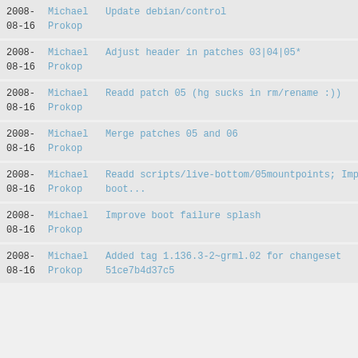2008-08-16 Michael Prokop Update debian/control
2008-08-16 Michael Prokop Adjust header in patches 03|04|05*
2008-08-16 Michael Prokop Readd patch 05 (hg sucks in rm/rename :))
2008-08-16 Michael Prokop Merge patches 05 and 06
2008-08-16 Michael Prokop Readd scripts/live-bottom/05mountpoints; Improve boot...
2008-08-16 Michael Prokop Improve boot failure splash
2008-08-16 Michael Prokop Added tag 1.136.3-2~grml.02 for changeset 51ce7b4d37c5